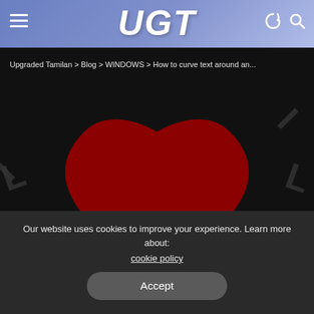UGT
Upgraded Tamilan > Blog > WINDOWS > How to curve text around an...
[Figure (photo): Dark background with large red heart shape and curved text 'I Love You' wrapping around it, with The WindowsClub logo watermark]
WINDOWS
How to curve text around an image in Photoshop
Karkey | June 14, 2022
Our website uses cookies to improve your experience. Learn more about: cookie policy
Accept